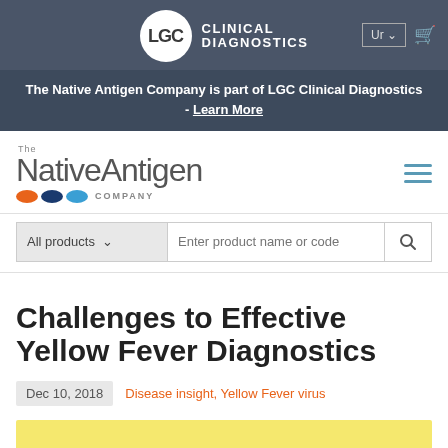LGC Clinical Diagnostics
The Native Antigen Company is part of LGC Clinical Diagnostics - Learn More
[Figure (logo): The Native Antigen Company logo with orange, dark blue, and light blue dots]
Challenges to Effective Yellow Fever Diagnostics
Dec 10, 2018  Disease insight, Yellow Fever virus